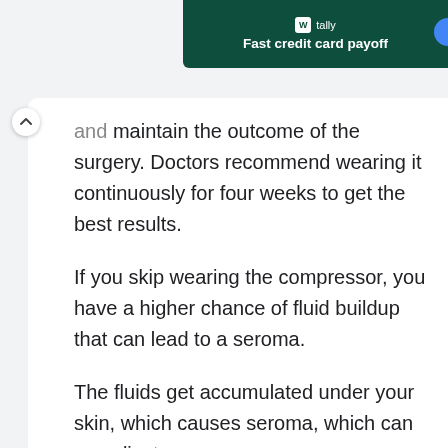[Figure (other): Tally app advertisement banner with dark green background showing 'Fast credit card payoff' text and logo]
and maintain the outcome of the surgery. Doctors recommend wearing it continuously for four weeks to get the best results.
If you skip wearing the compressor, you have a higher chance of fluid buildup that can lead to a seroma.
The fluids get accumulated under your skin, which causes seroma, which can complicate